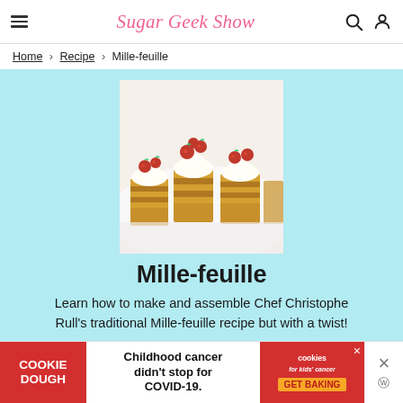Sugar Geek Show
Home › Recipe › Mille-feuille
[Figure (photo): Mille-feuille pastries topped with whipped cream and fresh raspberries arranged on a white plate]
Mille-feuille
Learn how to make and assemble Chef Christophe Rull's traditional Mille-feuille recipe but with a twist!
[Figure (other): Cookie Dough ad banner: 'Childhood cancer didn't stop for COVID-19. GET BAKING' with cookies for kids' cancer logo]